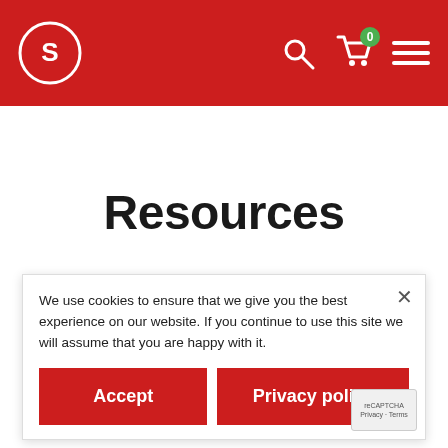[Figure (logo): Red header navigation bar with circular S logo on the left, search icon, shopping cart with badge '0', and hamburger menu on the right]
Resources
How we used yeast to find the cornerstone cell cycle CDK regulator
We use cookies to ensure that we give you the best experience on our website. If you continue to use this site we will assume that you are happy with it.
Cyclin dependent kinases (CDKs) are multifunctional